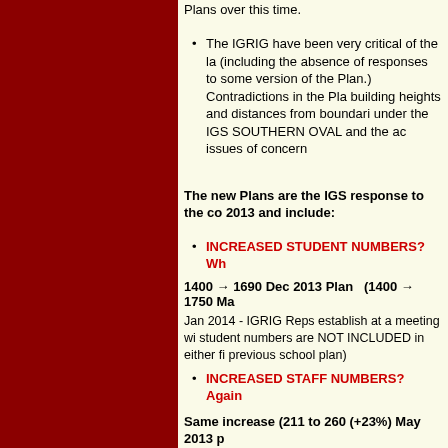Plans over this time.
The IGRIG have been very critical of the la (including the absence of responses to some version of the Plan.) Contradictions in the Pla building heights and distances from boundari under the IGS SOUTHERN OVAL and the ac issues of concern
The new Plans are the IGS response to the co 2013 and include:
INCREASED STUDENT NUMBERS? Wh
1400 → 1690 Dec 2013 Plan   (1400 → 1750 Ma
Jan 2014 - IGRIG Reps establish at a meeting wi student numbers are NOT INCLUDED in either fi previous school plan)
INCREASED STAFF NUMBERS? Again
Same increase (211 to 260 (+23%) May 2013 p